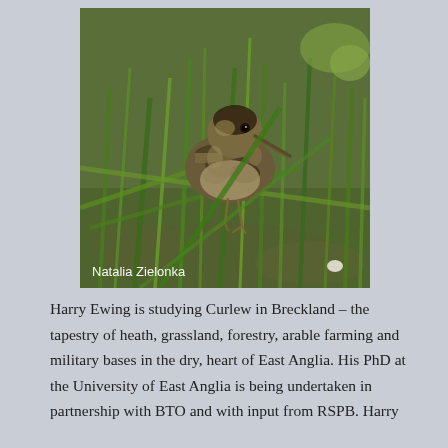[Figure (photo): Close-up photograph of a Curlew chick among green grass blades. The chick is small with mottled brown and black downy feathers, a short beak touching the ground. Photo credit reads 'Natalia Zielonka' in white text at the bottom left.]
Harry Ewing is studying Curlew in Breckland – the tapestry of heath, grassland, forestry, arable farming and military bases in the dry, heart of East Anglia. His PhD at the University of East Anglia is being undertaken in partnership with BTO and with input from RSPB. Harry ha...